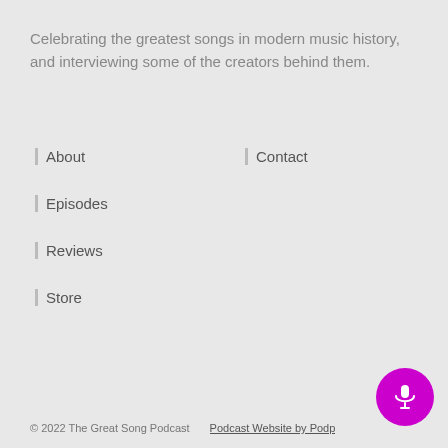Celebrating the greatest songs in modern music history, and interviewing some of the creators behind them.
About
Episodes
Reviews
Store
Contact
© 2022 The Great Song Podcast    Podcast Website by Podp...
[Figure (illustration): Purple circular microphone button in the bottom right corner]